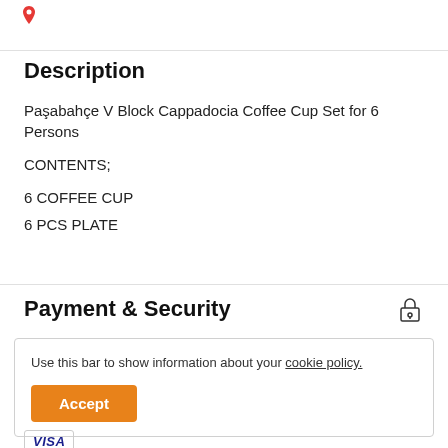[Figure (logo): Red location pin / map marker icon]
Description
Paşabahçe V Block Cappadocia Coffee Cup Set for 6 Persons
CONTENTS;
6 COFFEE CUP
6 PCS PLATE
Payment & Security
Use this bar to show information about your cookie policy.
[Figure (logo): VISA logo in dark blue italic text inside a bordered box]